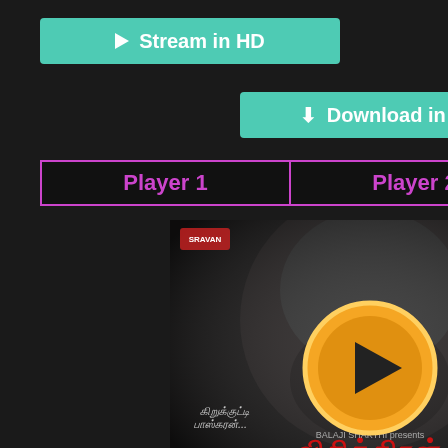[Figure (screenshot): Green/teal 'Stream in HD' button with play icon triangle]
[Figure (screenshot): Green/teal 'Download in HD' button with download icon]
[Figure (screenshot): Player tab buttons: 'Player 1' and 'Player 2' with purple/magenta border]
[Figure (photo): Tamil movie poster 'Visithiran' featuring a bearded man's face in dark tones, Tamil script title in red at bottom, orange play button overlay in center]